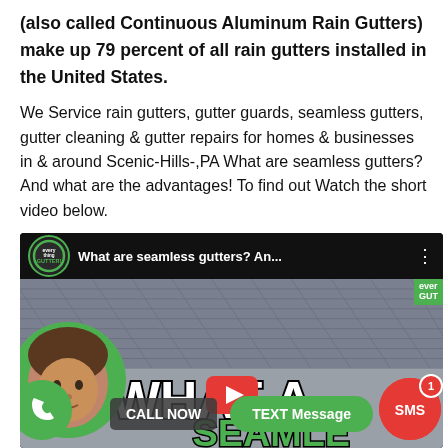(also called Continuous Aluminum Rain Gutters) make up 79 percent of all rain gutters installed in the United States.
We Service rain gutters, gutter guards, seamless gutters, gutter cleaning & gutter repairs for homes & businesses in & around Scenic-Hills-,PA What are seamless gutters? And what are the advantages! To find out Watch the short video below.
[Figure (screenshot): YouTube video thumbnail showing a video titled 'What are seamless gutters? An...' with the Everything Gutter channel icon, a person's face in a circular frame, CALL NOW button, TEXT Message button, SMS button with badge showing 1, and partial text overlay reading WHAT ARE SEAMLESS. A green phone icon button is also visible.]